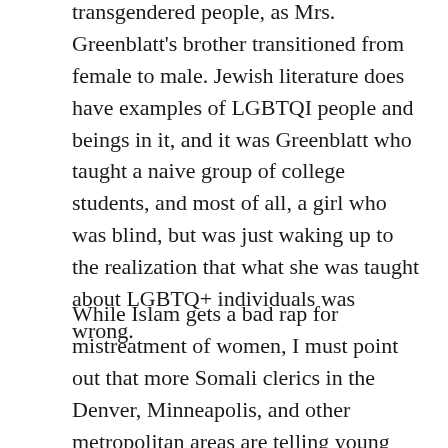transgendered people, as Mrs. Greenblatt's brother transitioned from female to male. Jewish literature does have examples of LGBTQI people and beings in it, and it was Greenblatt who taught a naive group of college students, and most of all, a girl who was blind, but was just waking up to the realization that what she was taught about LGBTQ+ individuals was wrong.
While Islam gets a bad rap for mistreatment of women, I must point out that more Somali clerics in the Denver, Minneapolis, and other metropolitan areas are telling young boys they should never go off to fight Jihad. It is a relic, this holy war business, and I know that most of